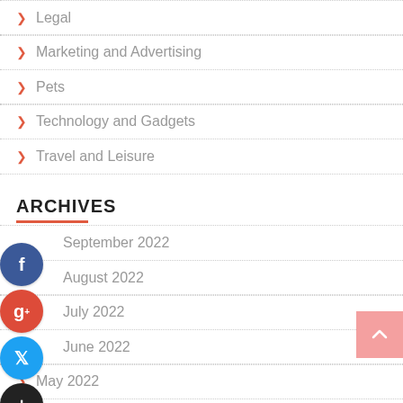Legal
Marketing and Advertising
Pets
Technology and Gadgets
Travel and Leisure
ARCHIVES
September 2022
August 2022
July 2022
June 2022
May 2022
April 2022